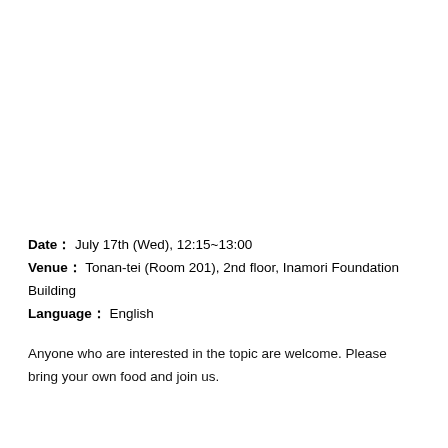Date： July 17th (Wed), 12:15~13:00
Venue： Tonan-tei (Room 201), 2nd floor, Inamori Foundation Building
Language： English
Anyone who are interested in the topic are welcome. Please bring your own food and join us.